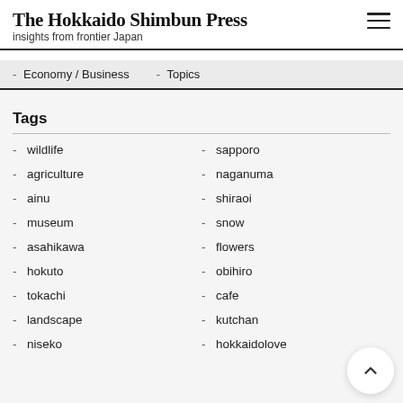The Hokkaido Shimbun Press
insights from frontier Japan
- Economy / Business   - Topics
Tags
- wildlife
- sapporo
- agriculture
- naganuma
- ainu
- shiraoi
- museum
- snow
- asahikawa
- flowers
- hokuto
- obihiro
- tokachi
- cafe
- landscape
- kutchan
- niseko
- hokkaidolove